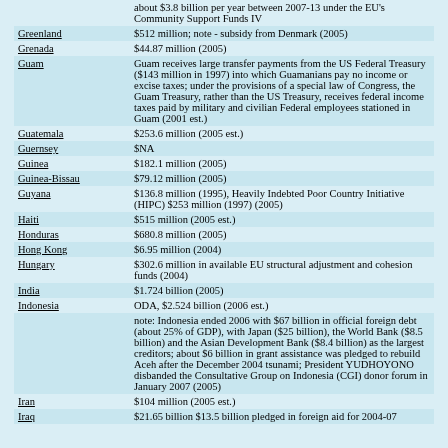| Country | Aid |
| --- | --- |
|  | about $3.8 billion per year between 2007-13 under the EU's Community Support Funds IV |
| Greenland | $512 million; note - subsidy from Denmark (2005) |
| Grenada | $44.87 million (2005) |
| Guam | Guam receives large transfer payments from the US Federal Treasury ($143 million in 1997) into which Guamanians pay no income or excise taxes; under the provisions of a special law of Congress, the Guam Treasury, rather than the US Treasury, receives federal income taxes paid by military and civilian Federal employees stationed in Guam (2001 est.) |
| Guatemala | $253.6 million (2005 est.) |
| Guernsey | $NA |
| Guinea | $182.1 million (2005) |
| Guinea-Bissau | $79.12 million (2005) |
| Guyana | $136.8 million (1995), Heavily Indebted Poor Country Initiative (HIPC) $253 million (1997) (2005) |
| Haiti | $515 million (2005 est.) |
| Honduras | $680.8 million (2005) |
| Hong Kong | $6.95 million (2004) |
| Hungary | $302.6 million in available EU structural adjustment and cohesion funds (2004) |
| India | $1.724 billion (2005) |
| Indonesia | ODA, $2.524 billion (2006 est.) |
|  | note: Indonesia ended 2006 with $67 billion in official foreign debt (about 25% of GDP), with Japan ($25 billion), the World Bank ($8.5 billion) and the Asian Development Bank ($8.4 billion) as the largest creditors; about $6 billion in grant assistance was pledged to rebuild Aceh after the December 2004 tsunami; President YUDHOYONO disbanded the Consultative Group on Indonesia (CGI) donor forum in January 2007 (2005) |
| Iran | $104 million (2005 est.) |
| Iraq | $21.65 billion $13.5 billion pledged in foreign aid for 2004-07 |